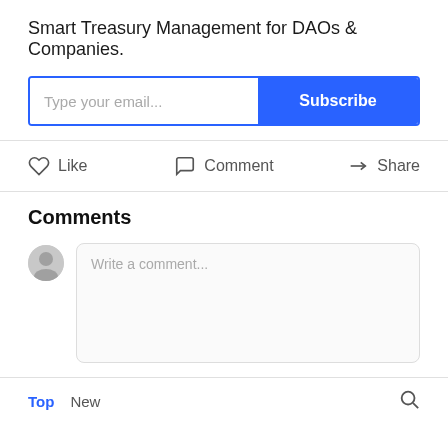Smart Treasury Management for DAOs & Companies.
Type your email... Subscribe
Like  Comment  Share
Comments
Write a comment...
Top  New